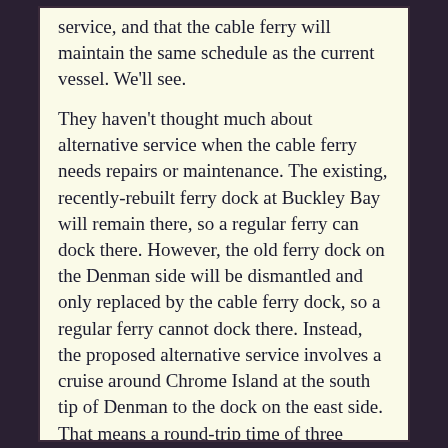service, and that the cable ferry will maintain the same schedule as the current vessel. We'll see.

They haven't thought much about alternative service when the cable ferry needs repairs or maintenance. The existing, recently-rebuilt ferry dock at Buckley Bay will remain there, so a regular ferry can dock there. However, the old ferry dock on the Denman side will be dismantled and only replaced by the cable ferry dock, so a regular ferry cannot dock there. Instead, the proposed alternative service involves a cruise around Chrome Island at the south tip of Denman to the dock on the east side. That means a round-trip time of three hours, with a vessel half the size. And they clearly haven't given any thought at all to how they will manage traffic at Gravelly Bay on the east side, with two routes docking there. There is no waiting apron at Gravelly Bay, and not even a shoulder on the road for cars to wait on. It is bad enough with cars queueing up in the driving lane for one ferry, but with two routes to queue for, and all the